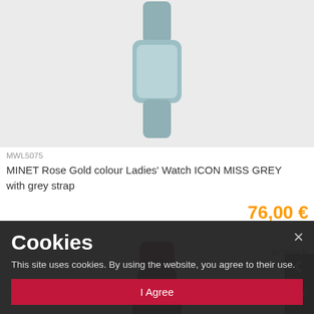[Figure (photo): Grey ladies watch with teal/grey strap on light grey background, partially visible at top]
MWL5075
MINET Rose Gold colour Ladies' Watch ICON MISS GREY with grey strap
76,00 €
[Figure (photo): Dark red/burgundy ladies watch on light grey background, partially visible]
In Stock
Cookies
This site uses cookies. By using the website, you agree to their use.
I Agree